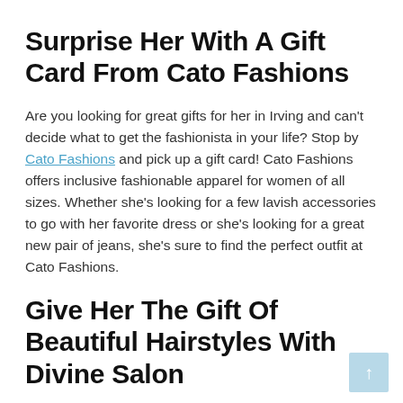Surprise Her With A Gift Card From Cato Fashions
Are you looking for great gifts for her in Irving and can't decide what to get the fashionista in your life? Stop by Cato Fashions and pick up a gift card! Cato Fashions offers inclusive fashionable apparel for women of all sizes. Whether she's looking for a few lavish accessories to go with her favorite dress or she's looking for a great new pair of jeans, she's sure to find the perfect outfit at Cato Fashions.
Give Her The Gift Of Beautiful Hairstyles With Divine Salon
Does the special woman in your life enjoy an afternoon at